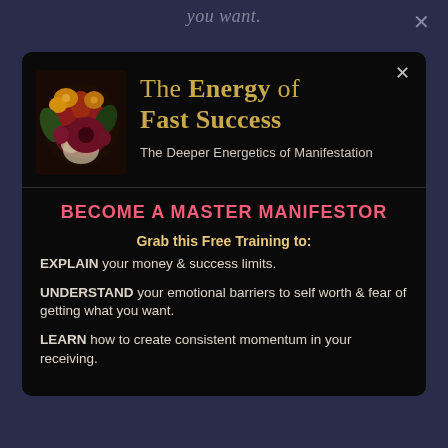you want.
The Energy of Fast Success
The Deeper Energetics of Manifestation
BECOME A MASTER MANIFESTOR
Grab this Free Training to:
EXPLAIN your money & success limits.
UNDERSTAND your emotional barriers to self worth & fear of getting what you want.
LEARN how to create consistent momentum in your receiving.